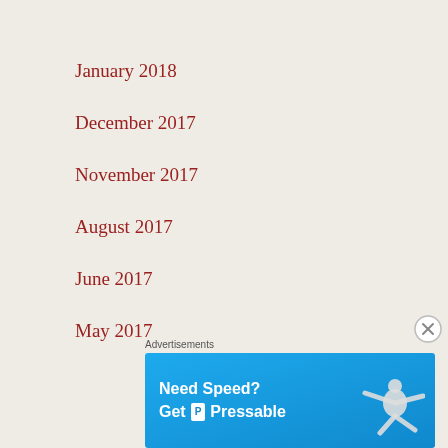January 2018
December 2017
November 2017
August 2017
June 2017
May 2017
[Figure (other): Advertisement banner: 'Need Speed? Get Pressable' on blue background with figure of person flying]
Advertisements